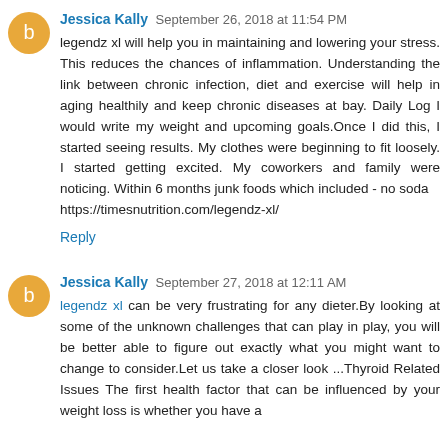Jessica Kally  September 26, 2018 at 11:54 PM
legendz xl will help you in maintaining and lowering your stress. This reduces the chances of inflammation. Understanding the link between chronic infection, diet and exercise will help in aging healthily and keep chronic diseases at bay. Daily Log I would write my weight and upcoming goals.Once I did this, I started seeing results. My clothes were beginning to fit loosely. I started getting excited. My coworkers and family were noticing. Within 6 months junk foods which included - no soda https://timesnutrition.com/legendz-xl/
Reply
Jessica Kally  September 27, 2018 at 12:11 AM
legendz xl can be very frustrating for any dieter.By looking at some of the unknown challenges that can play in play, you will be better able to figure out exactly what you might want to change to consider.Let us take a closer look ...Thyroid Related Issues The first health factor that can be influenced by your weight loss is whether you have a